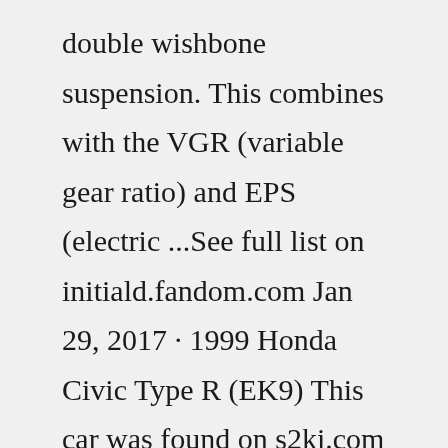double wishbone suspension. This combines with the VGR (variable gear ratio) and EPS (electric ...See full list on initiald.fandom.com Jan 29, 2017 · 1999 Honda Civic Type R (EK9) This car was found on s2ki.com in December 2005 - the owner noted that they bought the car from New York, drove it to Georgia where they were living and finally, shipped it back to Washington State. At the time it was offered, the car had a distinctive damaged...